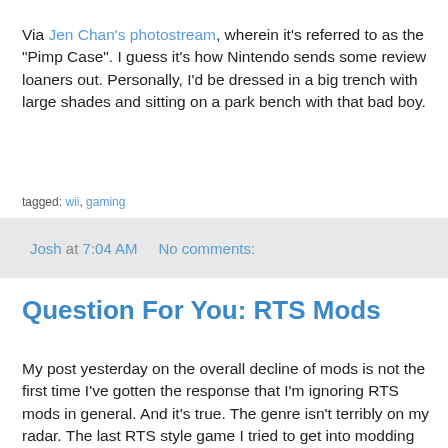Via Jen Chan's photostream, wherein it's referred to as the "Pimp Case". I guess it's how Nintendo sends some review loaners out. Personally, I'd be dressed in a big trench with large shades and sitting on a park bench with that bad boy.
tagged: wii, gaming
Josh at 7:04 AM    No comments:
Question For You: RTS Mods
My post yesterday on the overall decline of mods is not the first time I've gotten the response that I'm ignoring RTS mods in general. And it's true. The genre isn't terribly on my radar. The last RTS style game I tried to get into modding with was Freedom Force V TTR and honestly I didn't walk